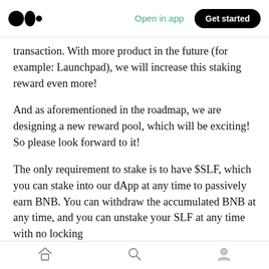Medium logo | Open in app | Get started
transaction. With more product in the future (for example: Launchpad), we will increase this staking reward even more!
And as aforementioned in the roadmap, we are designing a new reward pool, which will be exciting! So please look forward to it!
The only requirement to stake is to have $SLF, which you can stake into our dApp at any time to passively earn BNB. You can withdraw the accumulated BNB at any time, and you can unstake your SLF at any time with no locking
Home | Search | Profile